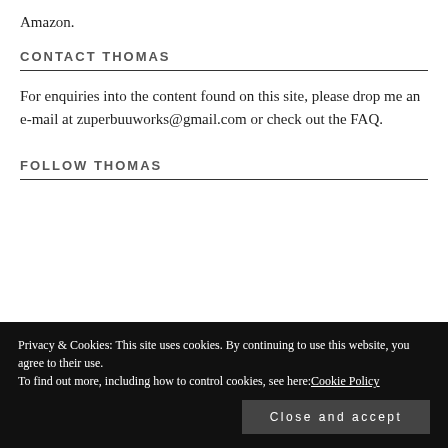Amazon.
CONTACT THOMAS
For enquiries into the content found on this site, please drop me an e-mail at zuperbuuworks@gmail.com or check out the FAQ.
FOLLOW THOMAS
Privacy & Cookies: This site uses cookies. By continuing to use this website, you agree to their use.
To find out more, including how to control cookies, see here: Cookie Policy
Close and accept